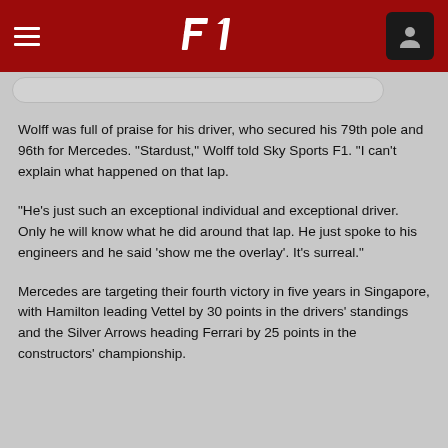F1 header navigation bar
Wolff was full of praise for his driver, who secured his 79th pole and 96th for Mercedes. “Stardust,” Wolff told Sky Sports F1. “I can’t explain what happened on that lap.
“He’s just such an exceptional individual and exceptional driver. Only he will know what he did around that lap. He just spoke to his engineers and he said ‘show me the overlay’. It’s surreal."
Mercedes are targeting their fourth victory in five years in Singapore, with Hamilton leading Vettel by 30 points in the drivers’ standings and the Silver Arrows heading Ferrari by 25 points in the constructors’ championship.